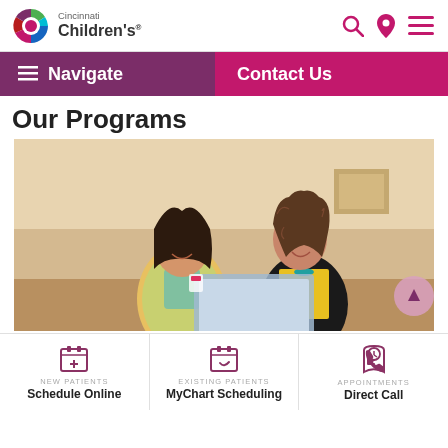[Figure (logo): Cincinnati Children's Hospital logo with multicolor circular icon and text]
Navigate
Contact Us
Our Programs
[Figure (photo): Two women in a hospital hallway smiling and looking at a document/folder. One has dark straight hair and a colorful jacket; the other has curly hair and a black cardigan with yellow top.]
NEW PATIENTS
Schedule Online
EXISTING PATIENTS
MyChart Scheduling
APPOINTMENTS
Direct Call